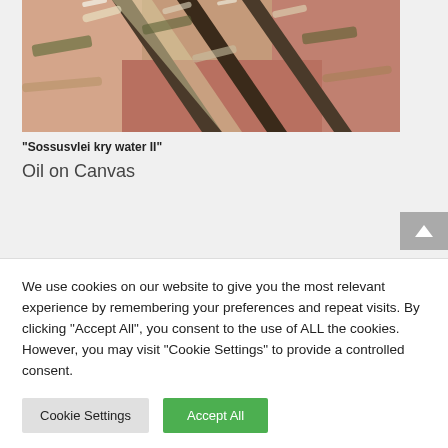[Figure (photo): Close-up photograph of an oil painting showing textured brushstrokes with earthy tones — pink, brown, olive green, white — depicting what appears to be a landscape with rocky or sandy terrain (Sossusvlei).]
“Sossusvlei kry water II”
Oil on Canvas
We use cookies on our website to give you the most relevant experience by remembering your preferences and repeat visits. By clicking “Accept All”, you consent to the use of ALL the cookies. However, you may visit "Cookie Settings" to provide a controlled consent.